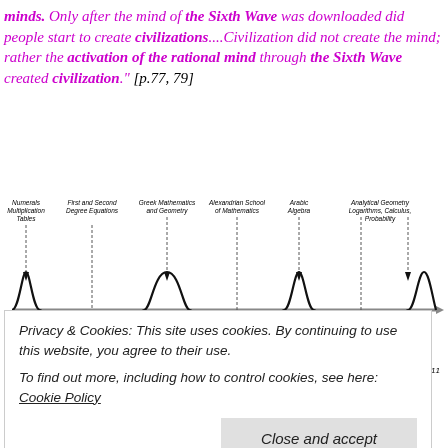minds. Only after the mind of the Sixth Wave was downloaded did people start to create civilizations....Civilization did not create the mind; rather the activation of the rational mind through the Sixth Wave created civilization." [p.77, 79]
[Figure (continuous-plot): A sine wave timeline diagram showing the history of mathematics. The horizontal axis is a timeline with an arrow pointing right. Seven labeled peaks (troughs pointing down with arrows) mark key mathematical developments: Numerals Multiplication Tables (3115 BCE), First and Second Degree Equations (2326), Greek Mathematics and Geometry (1538), Alexandrian School of Mathematics (749), Arabic Algebra (40 CE), Analytical Geometry Logarithms Calculus Probability (829, 1617, 2011). The wave oscillates above and below a horizontal line.]
Privacy & Cookies: This site uses cookies. By continuing to use this website, you agree to their use.
To find out more, including how to control cookies, see here: Cookie Policy